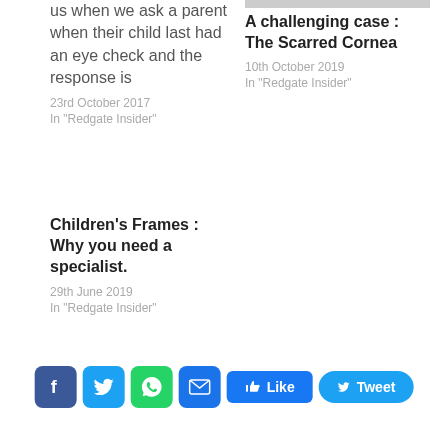us when we ask a parent when their child last had an eye check and the response is
23rd October 2017
In "Redgate Insider"
[Figure (photo): Small photo of a person, partially visible at top]
A challenging case : The Scarred Cornea
10th October 2019
In "Redgate Insider"
Children's Frames : Why you need a specialist.
29th June 2019
In "Redgate Insider"
[Figure (infographic): Social sharing buttons: Facebook, Twitter, WhatsApp, Email, Like button, Tweet button]